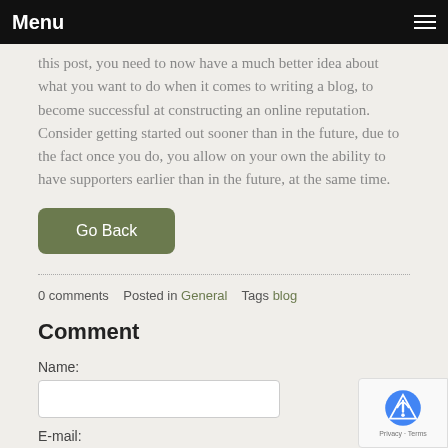Menu
this post, you need to now have a much better idea about what you want to do when it comes to writing a blog, to become successful at constructing an online reputation. Consider getting started out sooner than in the future, due to the fact once you do, you allow on your own the ability to have supporters earlier than in the future, at the same time.
Go Back
0 comments   Posted in General   Tags blog
Comment
Name:
E-mail: